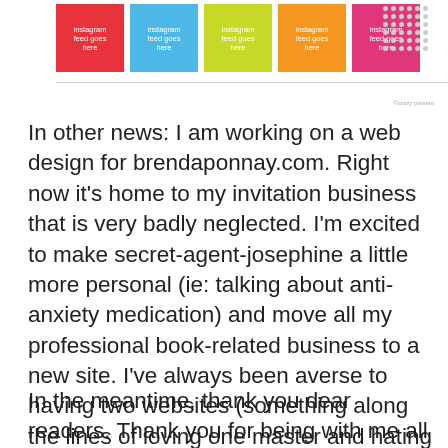[Figure (illustration): A row of five colored Instagram feed placeholder boxes (red, blue, lime/yellow-green, orange, pink), each labeled 'instagram feed goes here', with a grid of gray dots to the right and a small copyright credit text at bottom right. A light gray horizontal dividing line runs below.]
In other news: I am working on a web design for brendaponnay.com. Right now it's home to my invitation business that is very badly neglected. I'm excited to make secret-agent-josephine a little more personal (ie: talking about anti-anxiety medication) and move all my professional book-related business to a new site. I've always been averse to having two websites (something along the lines of loving one master and hating the other) but I think it's time. I'm excited too. Lots of great things happening on the books front. I will definitely keep you posted as that gets closer.
In the meantime, thank you dear readers. Thank you for being with me all these years. I have no idea what